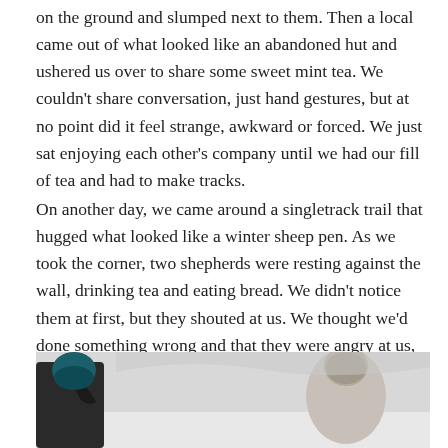on the ground and slumped next to them. Then a local came out of what looked like an abandoned hut and ushered us over to share some sweet mint tea. We couldn't share conversation, just hand gestures, but at no point did it feel strange, awkward or forced. We just sat enjoying each other's company until we had our fill of tea and had to make tracks.
On another day, we came around a singletrack trail that hugged what looked like a winter sheep pen. As we took the corner, two shepherds were resting against the wall, drinking tea and eating bread. We didn't notice them at first, but they shouted at us. We thought we'd done something wrong and that they were angry at us, but that wasn't the case. They wanted us to come over and share the only food and tea they had. Real experiences like these can't be forced or found in touristy areas.
[Figure (photo): A photograph showing two people outdoors in a snowy or wintry setting. One person on the left is partially visible at the edge wearing dark clothing. The other person on the right appears to be wearing a helmet or head covering and light-colored jacket. The background is bright and light-colored, suggesting snow or sky.]